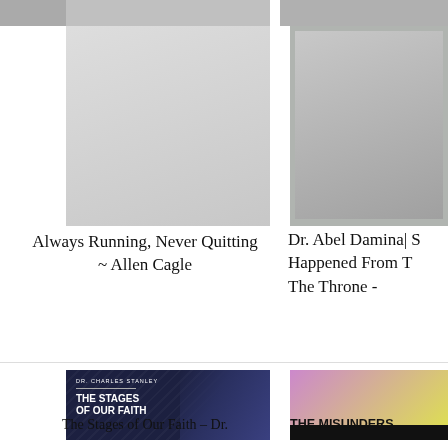[Figure (screenshot): Website screenshot showing EF logo, navigation, article thumbnails and titles]
Always Running, Never Quitting ~ Allen Cagle
Dr. Abel Damina| S Happened From T The Throne -
[Figure (photo): Dr. Charles Stanley thumbnail with text: DR. CHARLES STANLEY THE STAGES OF OUR FAITH]
The Stages of Our Faith – Dr.
[Figure (photo): Second video thumbnail with person on purple/yellow background]
THE MISUNDERS